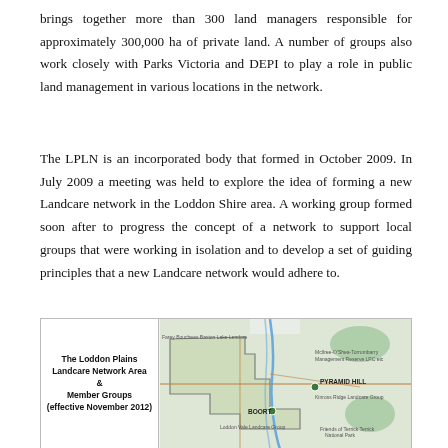brings together more than 300 land managers responsible for approximately 300,000 ha of private land. A number of groups also work closely with Parks Victoria and DEPI to play a role in public land management in various locations in the network.
The LPLN is an incorporated body that formed in October 2009. In July 2009 a meeting was held to explore the idea of forming a new Landcare network in the Loddon Shire area. A working group formed soon after to progress the concept of a network to support local groups that were working in isolation and to develop a set of guiding principles that a new Landcare network would adhere to.
[Figure (map): Map titled 'The Loddon Plains Landcare Network Area & Member Groups (effective November 2012)' showing a regional map with boundaries, roads, and labeled landcare group locations around Pyramid Hill and Boort areas.]